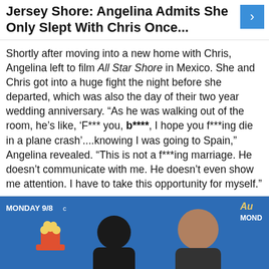Jersey Shore: Angelina Admits She Only Slept With Chris Once...
Shortly after moving into a new home with Chris, Angelina left to film All Star Shore in Mexico. She and Chris got into a huge fight the night before she departed, which was also the day of their two year wedding anniversary. “As he was walking out of the room, he's like, ‘F*** you, b****, I hope you f***ing die in a plane crash’....knowing I was going to Spain,” Angelina revealed. “This is not a f***ing marriage. He doesn’t communicate with me. He doesn’t even show me attention. I have to take this opportunity for myself.”
[Figure (photo): Photo of people at an MTV event with blue background showing MONDAY 9/8c text, popcorn bucket decorations, and a smiling man visible. A scroll-up button is in the bottom right corner.]